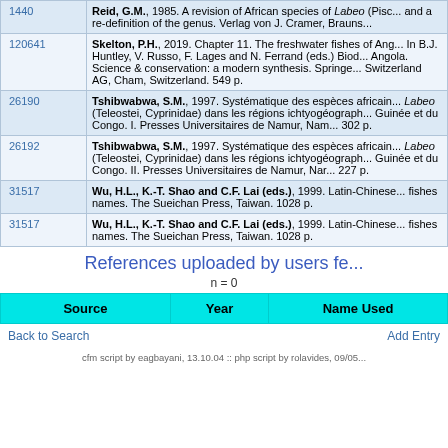| ID | Reference |
| --- | --- |
| 1440 | Reid, G.M., 1985. A revision of African species of Labeo (Pisc... and a re-definition of the genus. Verlag von J. Cramer, Brauns... |
| 120641 | Skelton, P.H., 2019. Chapter 11. The freshwater fishes of Ang... In B.J. Huntley, V. Russo, F. Lages and N. Ferrand (eds.) Biod... Angola. Science & conservation: a modern synthesis. Springe... Switzerland AG, Cham, Switzerland. 549 p. |
| 26190 | Tshibwabwa, S.M., 1997. Systématique des espèces africain... Labeo (Teleostei, Cyprinidae) dans les régions ichtyogéograph... Guinée et du Congo. I. Presses Universitaires de Namur, Nam... 302 p. |
| 26192 | Tshibwabwa, S.M., 1997. Systématique des espèces africain... Labeo (Teleostei, Cyprinidae) dans les régions ichtyogéograph... Guinée et du Congo. II. Presses Universitaires de Namur, Nar... 227 p. |
| 31517 | Wu, H.L., K.-T. Shao and C.F. Lai (eds.), 1999. Latin-Chinese... fishes names. The Sueichan Press, Taiwan. 1028 p. |
| 31517 | Wu, H.L., K.-T. Shao and C.F. Lai (eds.), 1999. Latin-Chinese... fishes names. The Sueichan Press, Taiwan. 1028 p. |
References uploaded by users fe...
n = 0
| Source | Year | Name Used |
| --- | --- | --- |
Back to Search
Add Entry
cfm script by eagbayani, 13.10.04 :: php script by rolavides, 09/05...